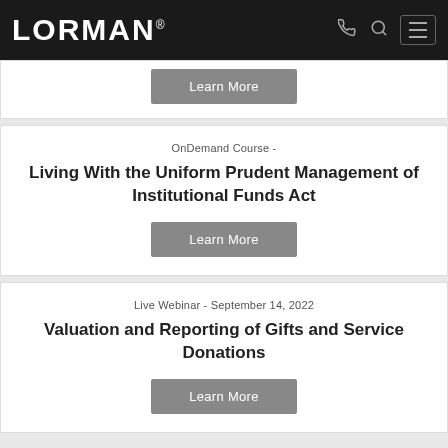LORMAN
Learn More
OnDemand Course -
Living With the Uniform Prudent Management of Institutional Funds Act
Learn More
Live Webinar - September 14, 2022
Valuation and Reporting of Gifts and Service Donations
Learn More